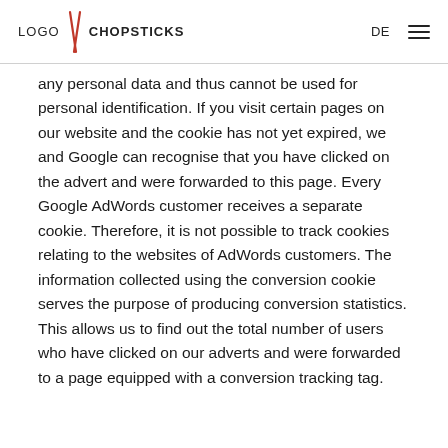LOGO CHOPSTICKS | DE ☰
any personal data and thus cannot be used for personal identification. If you visit certain pages on our website and the cookie has not yet expired, we and Google can recognise that you have clicked on the advert and were forwarded to this page. Every Google AdWords customer receives a separate cookie. Therefore, it is not possible to track cookies relating to the websites of AdWords customers. The information collected using the conversion cookie serves the purpose of producing conversion statistics. This allows us to find out the total number of users who have clicked on our adverts and were forwarded to a page equipped with a conversion tracking tag.